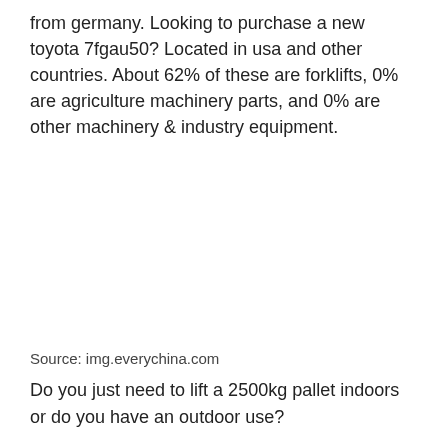from germany. Looking to purchase a new toyota 7fgau50? Located in usa and other countries. About 62% of these are forklifts, 0% are agriculture machinery parts, and 0% are other machinery & industry equipment.
Source: img.everychina.com
Do you just need to lift a 2500kg pallet indoors or do you have an outdoor use?
Toyota 7 Series 7fgau50 11 000lb Lp Propane 1418 Forklift For Sale Youtube